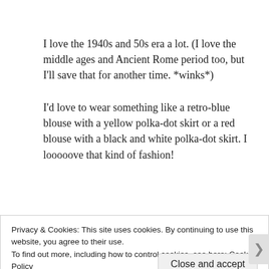I love the 1940s and 50s era a lot. (I love the middle ages and Ancient Rome period too, but I'll save that for another time. *winks*)
I'd love to wear something like a retro-blue blouse with a yellow polka-dot skirt or a red blouse with a black and white polka-dot skirt. I looooove that kind of fashion!
Privacy & Cookies: This site uses cookies. By continuing to use this website, you agree to their use.
To find out more, including how to control cookies, see here: Cookie Policy